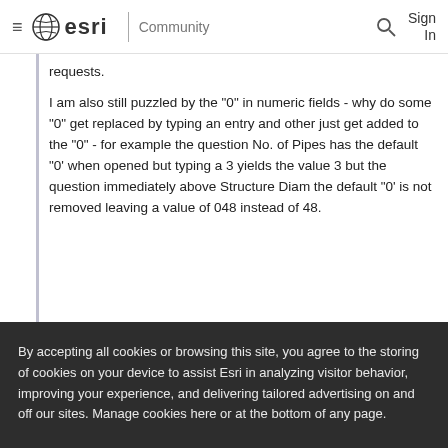esri Community
requests.

I am also still puzzled by the "0" in numeric fields - why do some "0" get replaced by typing an entry and other just get added to the "0" - for example the question No. of Pipes has the default "0' when opened but typing a 3 yields the value 3 but the question immediately above Structure Diam the default "0' is not removed leaving a value of 048 instead of 48.
By accepting all cookies or browsing this site, you agree to the storing of cookies on your device to assist Esri in analyzing visitor behavior, improving your experience, and delivering tailored advertising on and off our sites. Manage cookies here or at the bottom of any page.